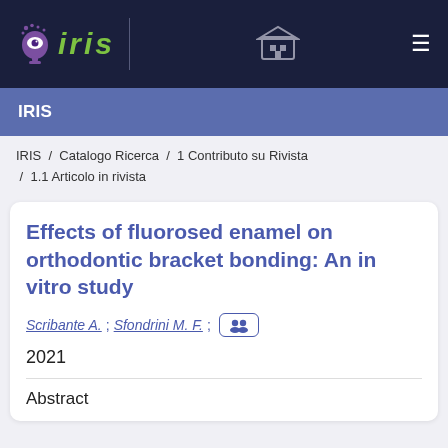IRIS
IRIS
IRIS / Catalogo Ricerca / 1 Contributo su Rivista / 1.1 Articolo in rivista
Effects of fluorosed enamel on orthodontic bracket bonding: An in vitro study
Scribante A.; Sfondrini M. F.;
2021
Abstract